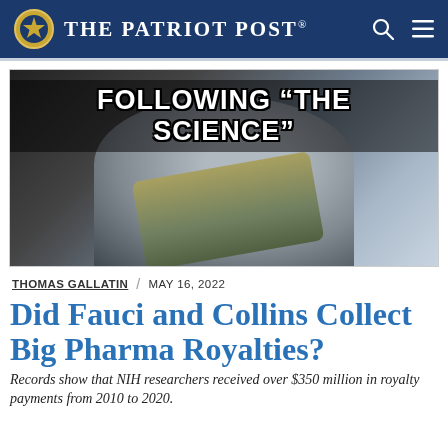The Patriot Post
[Figure (photo): A man in glasses examining a large stack of cash bills closely, with the text overlay 'FOLLOWING "THE SCIENCE"' at the top in bold white Impact font on dark background.]
THOMAS GALLATIN  /  MAY 16, 2022
Did Fauci and Collins Collect Big Pharma Royalties?
Records show that NIH researchers received over $350 million in royalty payments from 2010 to 2020.